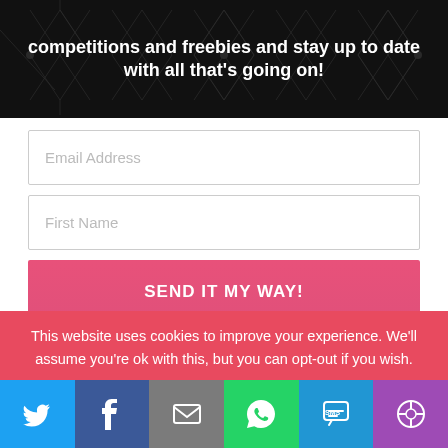[Figure (illustration): Dark banner with diamond/gem pattern background and white bold text: 'competitions and freebies and stay up to date with all that's going on!']
[Figure (screenshot): Email address input field with placeholder text 'Email Address']
[Figure (screenshot): First Name input field with placeholder text 'First Name']
[Figure (screenshot): Pink button with text 'SEND IT MY WAY!']
This website uses cookies to improve your experience. We'll assume you're ok with this, but you can opt-out if you wish.
[Figure (screenshot): Social share bar with Twitter, Facebook, Email, WhatsApp, SMS, and More buttons]